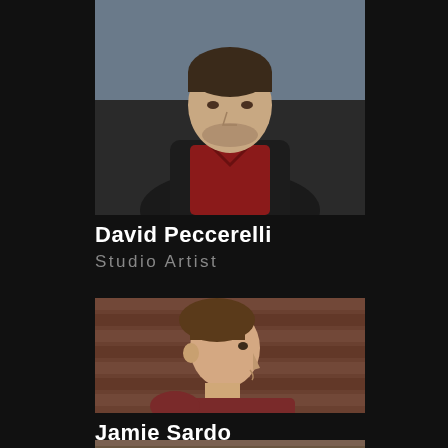[Figure (photo): Profile photo of David Peccerelli, a man wearing a black jacket over a red hoodie, outdoor background]
David Peccerelli
Studio Artist
[Figure (photo): Profile photo of Jamie Sardo, a young person in side profile wearing a dark red shirt, brick wall background]
Jamie Sardo
Studio Artist
[Figure (photo): Partial profile photo at bottom of page, partially cropped]